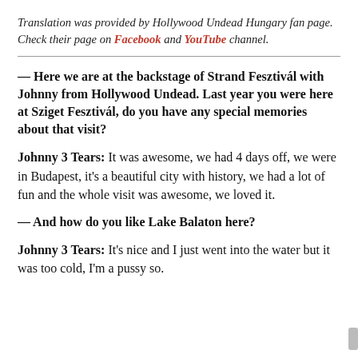Translation was provided by Hollywood Undead Hungary fan page. Check their page on Facebook and YouTube channel.
— Here we are at the backstage of Strand Fesztivál with Johnny from Hollywood Undead. Last year you were here at Sziget Fesztivál, do you have any special memories about that visit?
Johnny 3 Tears: It was awesome, we had 4 days off, we were in Budapest, it's a beautiful city with history, we had a lot of fun and the whole visit was awesome, we loved it.
— And how do you like Lake Balaton here?
Johnny 3 Tears: It's nice and I just went into the water but it was too cold, I'm a pussy so.